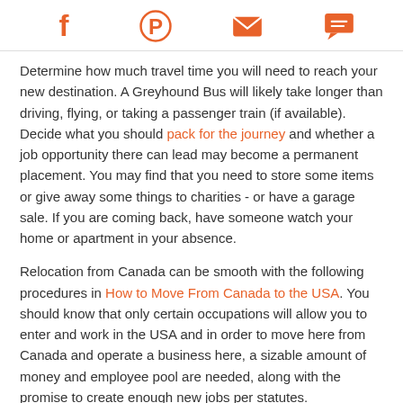[Social share icons: Facebook, Pinterest, Email, Chat]
Determine how much travel time you will need to reach your new destination. A Greyhound Bus will likely take longer than driving, flying, or taking a passenger train (if available). Decide what you should pack for the journey and whether a job opportunity there can lead may become a permanent placement. You may find that you need to store some items or give away some things to charities - or have a garage sale. If you are coming back, have someone watch your home or apartment in your absence.
Relocation from Canada can be smooth with the following procedures in How to Move From Canada to the USA. You should know that only certain occupations will allow you to enter and work in the USA and in order to move here from Canada and operate a business here, a sizable amount of money and employee pool are needed, along with the promise to create enough new jobs per statutes.